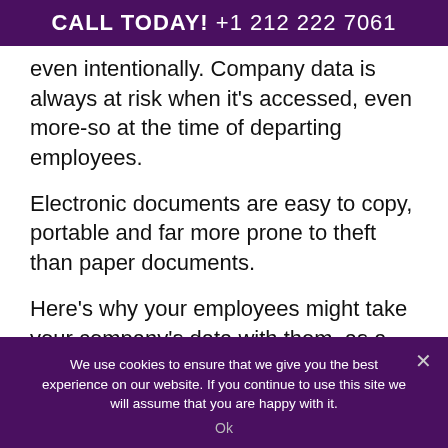CALL TODAY! +1 212 222 7061
even intentionally. Company data is always at risk when it's accessed, even more-so at the time of departing employees.
Electronic documents are easy to copy, portable and far more prone to theft than paper documents.
Here's why your employees might take your company's data with them, as a business owner:
We use cookies to ensure that we give you the best experience on our website. If you continue to use this site we will assume that you are happy with it.
Ok